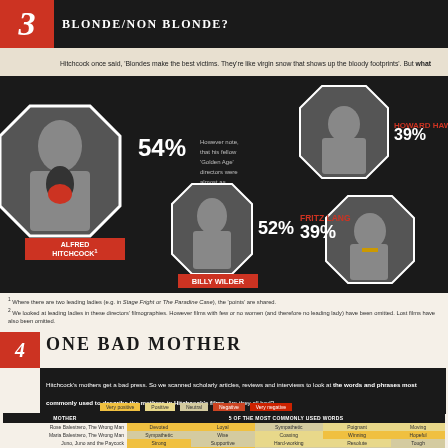3 BLONDE/NON BLONDE?
Hitchcock once said, 'Blondes make the best victims. They're like virgin snow that shows up the bloody footprints'. But what percentage of his heroines have blonde hair?
[Figure (infographic): Infographic showing percentage of blonde heroines for directors: Alfred Hitchcock 54%, Billy Wilder 52%, Howard Hawks 39%, Fritz Lang 39%, with octagon-framed portraits and a note about Golden Age directors being almost as obsessed.]
1 Where there are two leading ladies (e.g. in Stage Fright or The Paradine Case), the 'points' are shared.
2 We looked at leading ladies in these directors' filmographies. However films with few or no women (and therefore no leading lady) have been omitted. Lost films have also been omitted.
4 ONE BAD MOTHER
Hitchcock's mothers get a bad press. So we scanned scholarly articles, reviews and interviews to look at the words and phrases most commonly used to describe the mothers in Hitchcock's films. Are they all bad?
| MOTHER | 5 OF THE MOST COMMONLY USED WORDS |
| --- | --- |
| Rose Balestrero, The Wrong Man | Devoted | Loyal | Sympathetic | Poignant | Moving |
| Maria Balestrero, The Wrong Man | Sympathetic | Wise | Coaxing | Winning | Hopeful |
| Juno, Juno and the Paycock | Strong | Supportive | Hard-working | Resolute | Tough |
| Jill Lawrence, The Man Who Knew Too Much (1934) | Protective | Active | Pleasant | Jokey | Cool |
| Mrs White, Blackmail | Stable | Loving | Nurturing | Hard-working | Pragmatic |
| Jo McKenna, The Man Who Knew Too Much (1956) | Winning | Sympathetic | Moving | Emotional | Tortured |
| Jennifer Rogers, The Trouble with Harry | Sympathetic | Winning | Independent | Disarming | Kind |